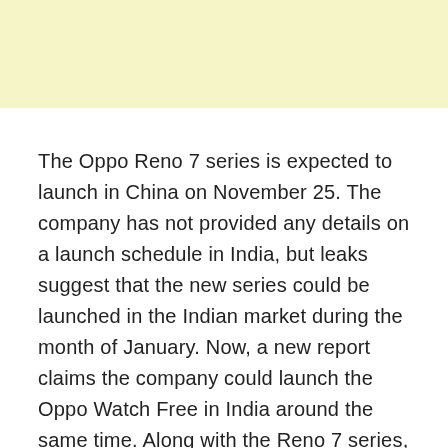[Figure (other): Light yellow banner/header area at top of page]
The Oppo Reno 7 series is expected to launch in China on November 25. The company has not provided any details on a launch schedule in India, but leaks suggest that the new series could be launched in the Indian market during the month of January. Now, a new report claims the company could launch the Oppo Watch Free in India around the same time. Along with the Reno 7 series, new generation true wireless earphones could also be launched in the Indian market next year.